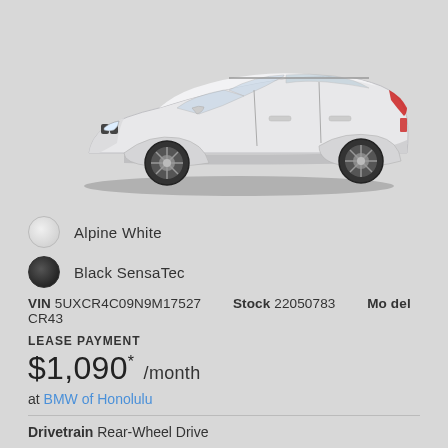[Figure (illustration): Side profile view of a white BMW X5 SUV on a light gray background]
Alpine White
Black SensaTec
VIN 5UXCR4C09N9M17527   Stock 22050783   Model CR43
LEASE PAYMENT
$1,090* /month
at BMW of Honolulu
Drivetrain Rear-Wheel Drive